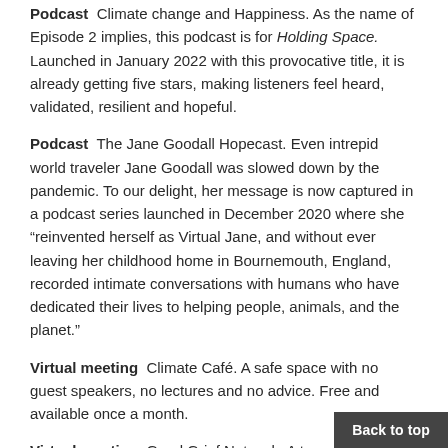Podcast  Climate change and Happiness. As the name of Episode 2 implies, this podcast is for Holding Space. Launched in January 2022 with this provocative title, it is already getting five stars, making listeners feel heard, validated, resilient and hopeful.
Podcast  The Jane Goodall Hopecast. Even intrepid world traveler Jane Goodall was slowed down by the pandemic. To our delight, her message is now captured in a podcast series launched in December 2020 where she “reinvented herself as Virtual Jane, and without ever leaving her childhood home in Bournemouth, England, recorded intimate conversations with humans who have dedicated their lives to helping people, animals, and the planet.”
Virtual meeting  Climate Café. A safe space with no guest speakers, no lectures and no advice. Free and available once a month.
Virtual meeting  Good Grief Network. A ten-ste…
Back to top